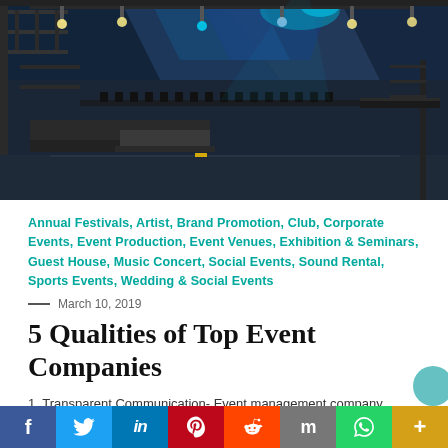[Figure (photo): Interior of a large event venue or concert hall being set up, with staging equipment, scaffolding, lighting rigs, rows of chairs/tables, and dramatic blue lighting against dark geometric backdrops.]
Annual Festivals, Artist, Brand Promotion, Club, Corporate Events, Event Production, Event Venues, Exhibition & Seminars, Guest House, Music Concert, Social Events, Sound Rental, Sports Events, Wedding & Social Events
— March 10, 2019
5 Qualities of Top Event Companies
1. Transparent Communication- Event management company